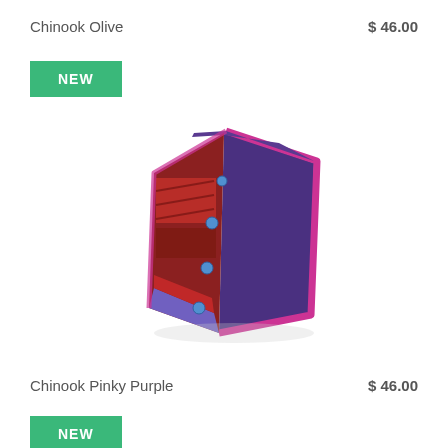Chinook Olive
$ 46.00
NEW
[Figure (photo): Folded fabric item (Chinook Pinky Purple) with plaid pattern on one side, purple fleece on the other, and pink binding, shown rolled/folded with blue snap buttons visible.]
Chinook Pinky Purple
$ 46.00
NEW